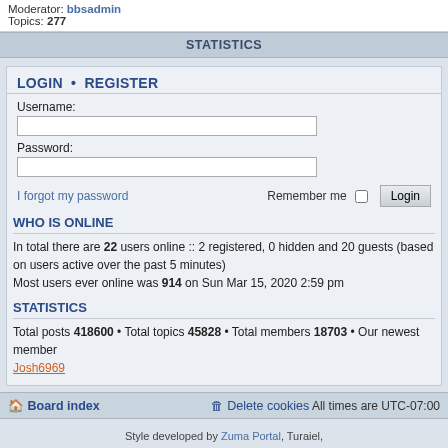Moderator: bbsadmin
Topics: 277
STATISTICS
LOGIN • REGISTER
Username:
Password:
I forgot my password
Remember me
WHO IS ONLINE
In total there are 22 users online :: 2 registered, 0 hidden and 20 guests (based on users active over the past 5 minutes)
Most users ever online was 914 on Sun Mar 15, 2020 2:59 pm
STATISTICS
Total posts 418600 • Total topics 45828 • Total members 18703 • Our newest member Josh6969
Board index
Delete cookies   All times are UTC-07:00
Style developed by Zuma Portal, Turaiel,
Powered by phpBB® Forum Software © phpBB Limited
Privacy | Terms